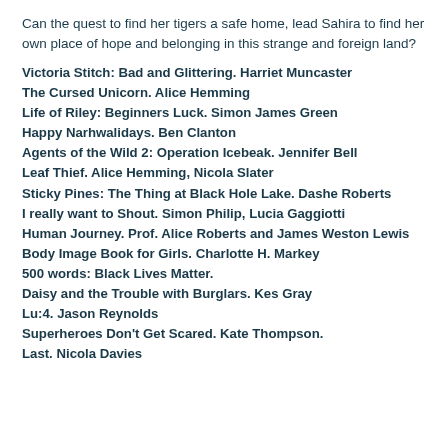Can the quest to find her tigers a safe home, lead Sahira to find her own place of hope and belonging in this strange and foreign land?
Victoria Stitch: Bad and Glittering. Harriet Muncaster
The Cursed Unicorn. Alice Hemming
Life of Riley: Beginners Luck. Simon James Green
Happy Narhwalidays. Ben Clanton
Agents of the Wild 2: Operation Icebeak. Jennifer Bell
Leaf Thief. Alice Hemming, Nicola Slater
Sticky Pines: The Thing at Black Hole Lake. Dashe Roberts
I really want to Shout. Simon Philip, Lucia Gaggiotti
Human Journey. Prof. Alice Roberts and James Weston Lewis
Body Image Book for Girls. Charlotte H. Markey
500 words: Black Lives Matter.
Daisy and the Trouble with Burglars. Kes Gray
Lu:4. Jason Reynolds
Superheroes Don't Get Scared. Kate Thompson.
Last. Nicola Davies